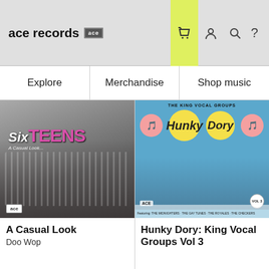ace records
Explore
Merchandise
Shop music
[Figure (photo): Album cover for 'A Casual Look' by the SixTeens - black and white photo of group members with pink SixTEENS text]
A Casual Look
Doo Wop
[Figure (photo): Album cover for 'Hunky Dory: King Vocal Groups Vol 3' - blue background with colorful circles and group photo]
Hunky Dory: King Vocal Groups Vol 3
Please note our website uses cookies to improve your experience. I understand. For more information see our Privacy Notice & Cookie Policy.